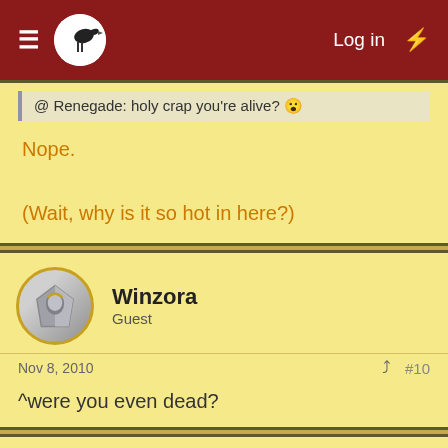Log in
@ Renegade: holy crap you're alive? 😮
Nope.

(Wait, why is it so hot in here?)
Winzora
Guest
Nov 8, 2010  #10
^were you even dead?
Boombastic.
Guest
Nov 8, 2010  #11
Did you know you can also visit us on our Discord chat? Come and meet us!